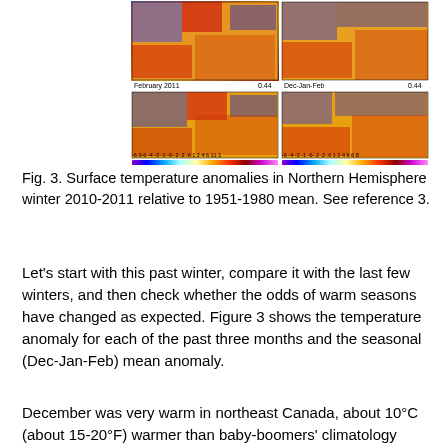[Figure (map): Four world maps showing surface temperature anomalies. Top-left labeled 'February 2011 0.44', top-right partially visible. Bottom-left labeled 'February 2011 0.44', bottom-right labeled 'Dec-Jan-Feb 0.44'. Color scale bars at bottom ranging from -6.3 to 11.1 (left) and -6 to 8 (right). Colors range from purple/blue (cold) through white to red/brown (warm).]
Fig. 3. Surface temperature anomalies in Northern Hemisphere winter 2010-2011 relative to 1951-1980 mean. See reference 3.
Let's start with this past winter, compare it with the last few winters, and then check whether the odds of warm seasons have changed as expected. Figure 3 shows the temperature anomaly for each of the past three months and the seasonal (Dec-Jan-Feb) mean anomaly.
December was very warm in northeast Canada, about 10°C (about 15-20°F) warmer than baby-boomers' climatology